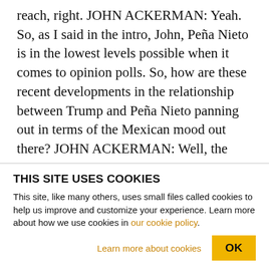reach, right. JOHN ACKERMAN: Yeah. So, as I said in the intro, John, Peña Nieto is in the lowest levels possible when it comes to opinion polls. So, how are these recent developments in the relationship between Trump and Peña Nieto panning out in terms of the Mexican mood out there? JOHN ACKERMAN: Well, the Mexican mood is souring by the day. We were already in the middle of a pretty crisis-laden situation both politically and economically because, you know, on January 1st there was incredible gasoline price hikes, as well as electricity price hikes — 20% just on January 1st. Inflation is starting to
THIS SITE USES COOKIES
This site, like many others, uses small files called cookies to help us improve and customize your experience. Learn more about how we use cookies in our cookie policy.